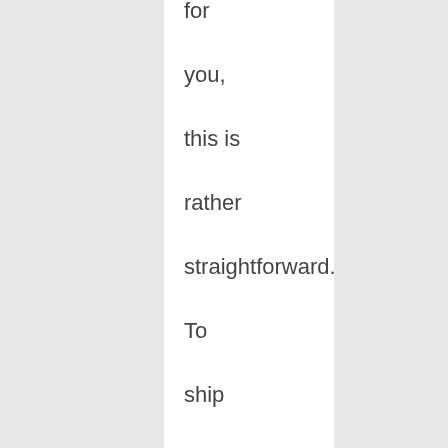for you, this is rather straightforward. To ship any of the parcels